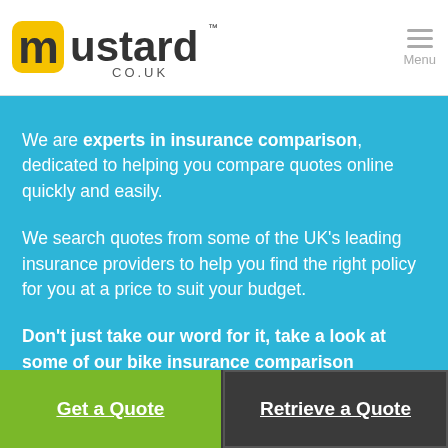mustard CO.UK — Menu
We are experts in insurance comparison, dedicated to helping you compare quotes online quickly and easily.
We search quotes from some of the UK's leading insurance providers to help you find the right policy for you at a price to suit your budget.
Don't just take our word for it, take a look at some of our bike insurance comparison reviews.
Get a Quote
Retrieve a Quote